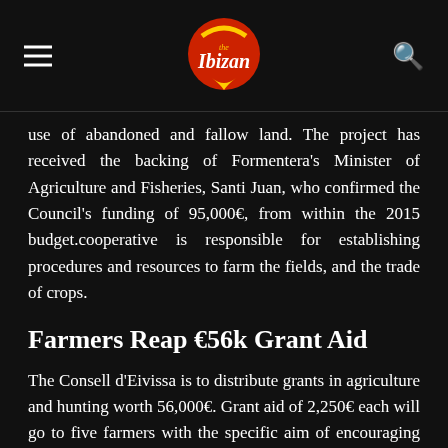the Ibizan
use of abandoned and fallow land. The project has received the backing of Formentera's Minister of Agriculture and Fisheries, Santi Juan, who confirmed the Council's funding of 95,000€, from within the 2015 budget.cooperative is responsible for establishing procedures and resources to farm the fields, and the trade of crops.
Farmers Reap €56k Grant Aid
The Consell d'Eivissa is to distribute grants in agriculture and hunting worth 56,000€. Grant aid of 2,250€ each will go to five farmers with the specific aim of encouraging the use of biodegradable plastics in their work, with a further 15,700€ being divided amongst 14 arable farms to help in the conservation of traditional local varieties of cereals at risk of